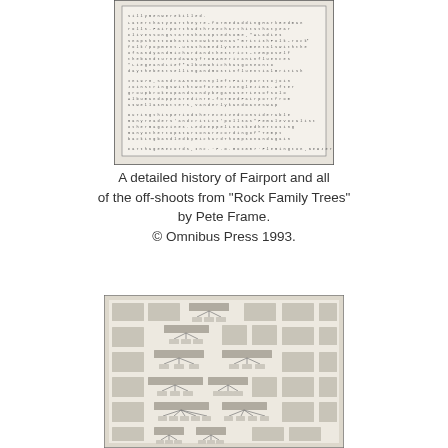[Figure (photo): Scanned document page with typewritten text, appears to be a press release or liner notes from Carthage Records, Inc. about Fairport Convention history.]
A detailed history of Fairport and all of the off-shoots from "Rock Family Trees" by Pete Frame.
© Omnibus Press 1993.
[Figure (other): A scanned page from 'Rock Family Trees' by Pete Frame showing multiple band family tree diagrams for Fairport Convention and related off-shoot bands, with interconnected tree structures showing band member relationships.]